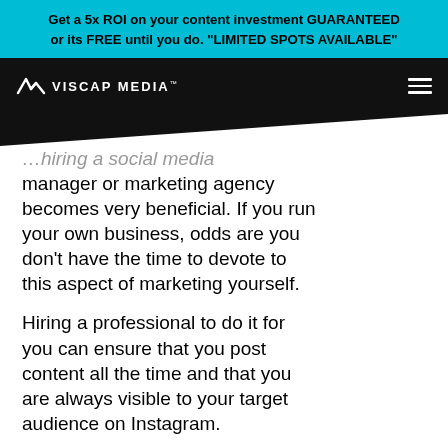Get a 5x ROI on your content investment GUARANTEED or its FREE until you do. "LIMITED SPOTS AVAILABLE"
[Figure (logo): Viscap Media logo with hamburger nav menu on dark background]
...hiring a social media manager or marketing agency becomes very beneficial. If you run your own business, odds are you don't have the time to devote to this aspect of marketing yourself.
Hiring a professional to do it for you can ensure that you post content all the time and that you are always visible to your target audience on Instagram.
COMMENT AND SHARE POSTS FROM OTHER